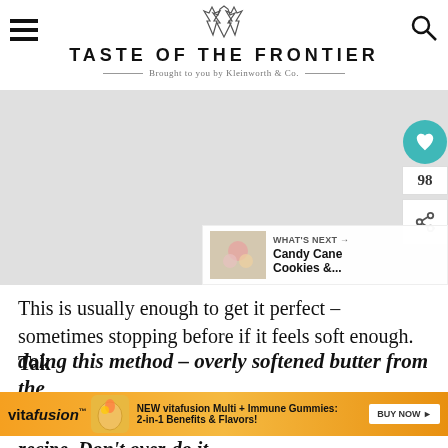TASTE OF THE FRONTIER — Brought to you by Kleinworth & Co.
[Figure (photo): Large image area (gray placeholder) showing a recipe photo]
This is usually enough to get it perfect – sometimes stopping before if it feels soft enough. Take care doing this method – overly softened butter from the recipe. Don't over-do it.
[Figure (photo): What's Next overlay: Candy Cane Cookies thumbnail with label 'WHAT'S NEXT → Candy Cane Cookies &...']
[Figure (other): Vitafusion advertisement banner: NEW vitafusion Multi + Immune Gummies: 2-in-1 Benefits & Flavors! BUY NOW]